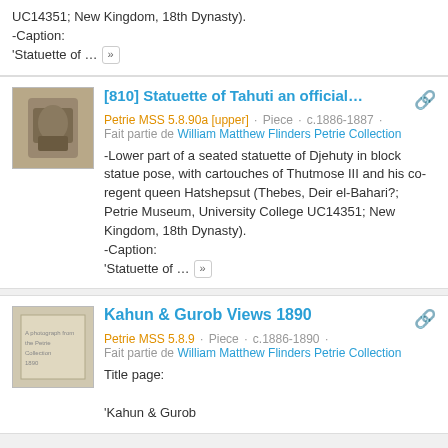UC14351; New Kingdom, 18th Dynasty).
-Caption:
'Statuette of … »
[810] Statuette of Tahuti an official…
Petrie MSS 5.8.90a [upper] · Piece · c.1886-1887 · Fait partie de William Matthew Flinders Petrie Collection
-Lower part of a seated statuette of Djehuty in block statue pose, with cartouches of Thutmose III and his co-regent queen Hatshepsut (Thebes, Deir el-Bahari?; Petrie Museum, University College UC14351; New Kingdom, 18th Dynasty).
-Caption:
'Statuette of … »
Kahun & Gurob Views 1890
Petrie MSS 5.8.9 · Piece · c.1886-1890 · Fait partie de William Matthew Flinders Petrie Collection
Title page:
'Kahun & Gurob